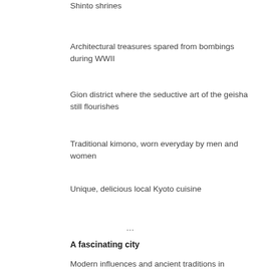Shinto shrines
Architectural treasures spared from bombings during WWII
Gion district where the seductive art of the geisha still flourishes
Traditional kimono, worn everyday by men and women
Unique, delicious local Kyoto cuisine
…
A fascinating city
Modern influences and ancient traditions in